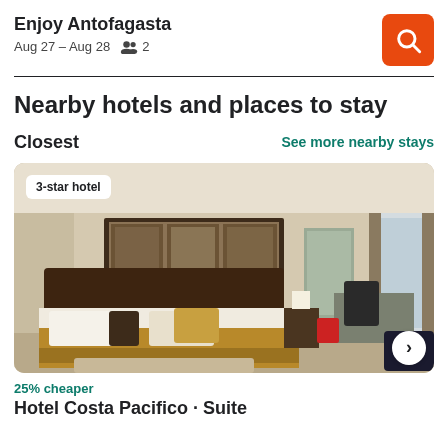Enjoy Antofagasta
Aug 27 – Aug 28  👥 2
Nearby hotels and places to stay
Closest
See more nearby stays
[Figure (photo): Hotel room interior showing a large double bed with gold/brown bedding, framed artwork on wall, desk area with chairs, and a window with curtains. Badge reads '3-star hotel'.]
25% cheaper
Hotel Costa Pacifico · Suite